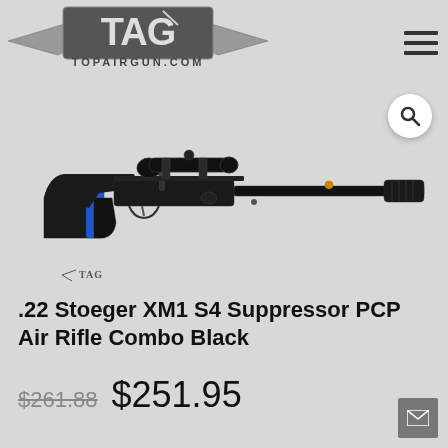[Figure (logo): TAG TopAirGun.com logo with wings and metallic lettering]
[Figure (photo): Stoeger XM1 S4 Suppressor PCP Air Rifle Combo in Black with scope, blue grip accent, shown in profile view against white background]
.22 Stoeger XM1 S4 Suppressor PCP Air Rifle Combo Black
$261.88  $251.95